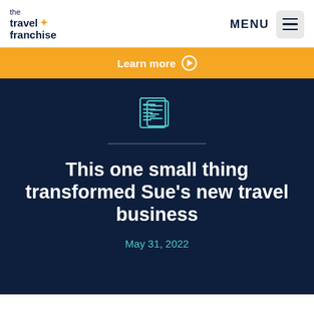the travel franchise | MENU
Learn more ▶
[Figure (illustration): Newspaper/article icon in teal outline style]
This one small thing transformed Sue's new travel business
May 31, 2022